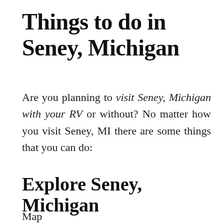Things to do in Seney, Michigan
Are you planning to visit Seney, Michigan with your RV or without? No matter how you visit Seney, MI there are some things that you can do:
Explore Seney, Michigan
Map